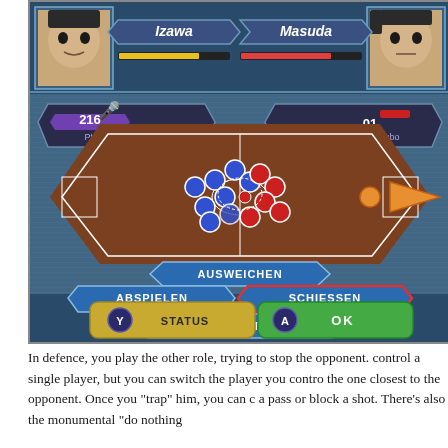[Figure (screenshot): Screenshot of a Nintendo DS soccer game (likely Captain Tsubasa/Inazuma Eleven) in German. Shows a football field top-down view with blue and red player tokens clustered near the center. Top bar shows player portraits: 'Izawa' on the left with yellow health bar, 'Masuda' on the right with red health bar. Score panel shows '216 Pt.' on the left and '01 Combo' on the right. Action menu buttons at bottom of field show: AUSWEICHEN (center), ABSPIELEN (left), SCHIESSEN (right, highlighted in red), NICHTS TUN (center-bottom). Bottom bar shows Y=STATUS and A=OK buttons.]
In defence, you play the other role, trying to stop the opponent. control a single player, but you can switch the player you contro the one closest to the opponent. Once you "trap" him, you can c a pass or block a shot. There's also the monumental "do nothing